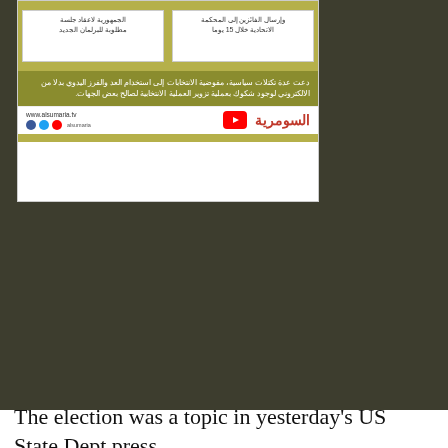[Figure (screenshot): Screenshot of Al Sumaria TV news card with Arabic text about elections, showing two content blocks in olive/yellow background, a body text section in darker olive, and a footer with website URL and Al Sumaria logo]
The election was a topic in yesterday's US State Dept press